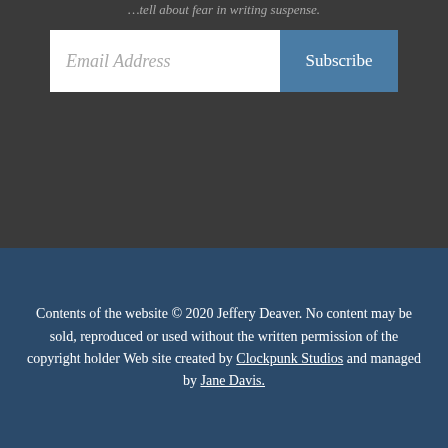…tell about fear in writing suspense.
[Figure (screenshot): Email subscription form with 'Email Address' placeholder text input field and a blue 'Subscribe' button]
Contents of the website © 2020 Jeffery Deaver. No content may be sold, reproduced or used without the written permission of the copyright holder Web site created by Clockpunk Studios and managed by Jane Davis.